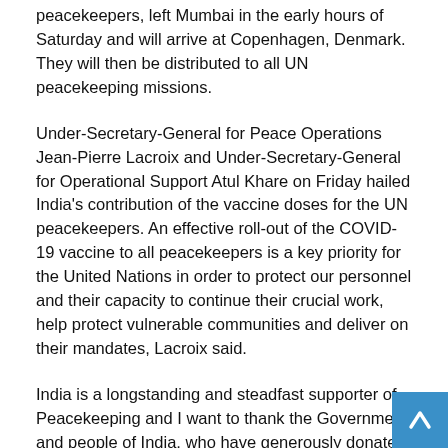peacekeepers, left Mumbai in the early hours of Saturday and will arrive at Copenhagen, Denmark. They will then be distributed to all UN peacekeeping missions.
Under-Secretary-General for Peace Operations Jean-Pierre Lacroix and Under-Secretary-General for Operational Support Atul Khare on Friday hailed India's contribution of the vaccine doses for the UN peacekeepers. An effective roll-out of the COVID-19 vaccine to all peacekeepers is a key priority for the United Nations in order to protect our personnel and their capacity to continue their crucial work, help protect vulnerable communities and deliver on their mandates, Lacroix said.
India is a longstanding and steadfast supporter of Peacekeeping and I want to thank the Government and people of India, who have generously donated COVID-19 vaccines to benefit our peacekeeping personnel and enable them to continue their life-saving work in a safe manner.